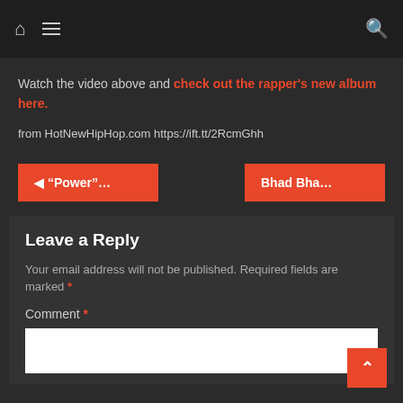Navigation bar with home icon, hamburger menu, and search icon
Watch the video above and check out the rapper's new album here.
from HotNewHipHop.com https://ift.tt/2RcmGhh
◄ "Power"...
Bhad Bha...
Leave a Reply
Your email address will not be published. Required fields are marked *
Comment *